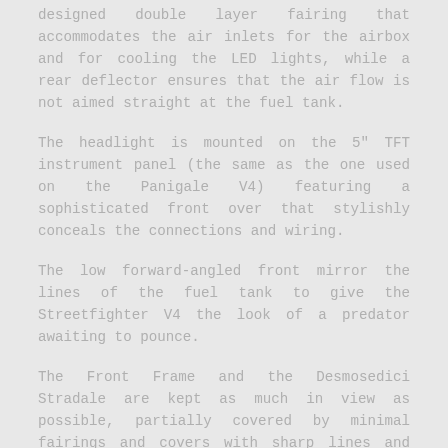designed double layer fairing that accommodates the air inlets for the airbox and for cooling the LED lights, while a rear deflector ensures that the air flow is not aimed straight at the fuel tank.
The headlight is mounted on the 5" TFT instrument panel (the same as the one used on the Panigale V4) featuring a sophisticated front over that stylishly conceals the connections and wiring.
The low forward-angled front mirror the lines of the fuel tank to give the Streetfighter V4 the look of a predator awaiting to pounce.
The Front Frame and the Desmosedici Stradale are kept as much in view as possible, partially covered by minimal fairings and covers with sharp lines and sculpted volumes that create an uncluttered, essential look. The F1-derived air extractors stand out from behind the radiator.
They have structural function, connect directly to the frame and incorporate double stacked wings — another